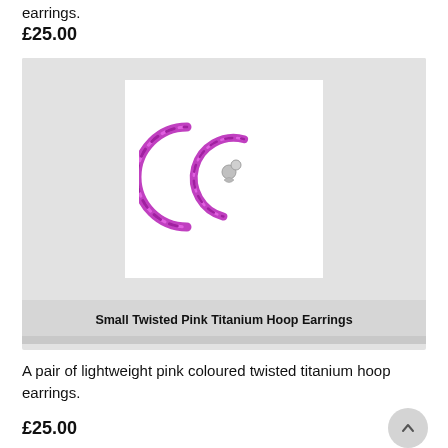earrings.
£25.00
[Figure (photo): Small Twisted Pink Titanium Hoop Earrings product photo showing a pair of pink twisted titanium hoop earrings with silver closures on a white background]
Small Twisted Pink Titanium Hoop Earrings
A pair of lightweight pink coloured twisted titanium hoop earrings.
£25.00